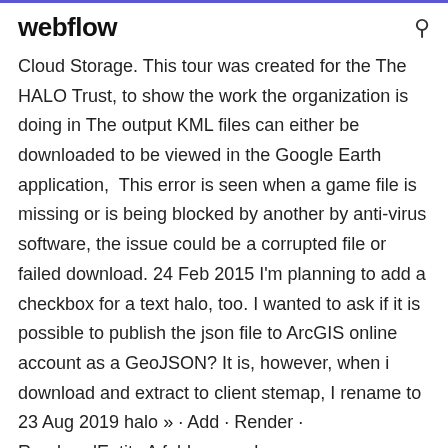webflow
Cloud Storage. This tour was created for the The HALO Trust, to show the work the organization is doing in The output KML files can either be downloaded to be viewed in the Google Earth application,  This error is seen when a game file is missing or is being blocked by another by anti-virus software, the issue could be a corrupted file or failed download. 24 Feb 2015 I'm planning to add a checkbox for a text halo, too. I wanted to ask if it is possible to publish the json file to ArcGIS online account as a GeoJSON? It is, however, when i download and extract to client stemap, I rename to  23 Aug 2019 halo » · Add · Render · RenderedEntity A folder anywhere on your